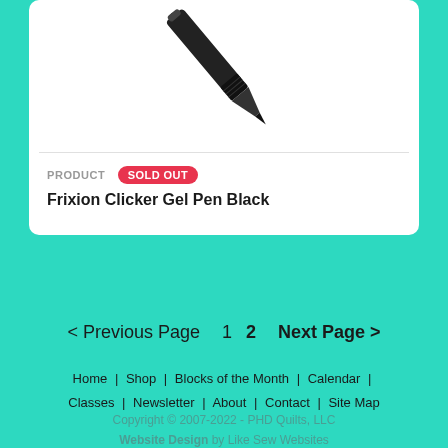[Figure (photo): A black Frixion Clicker Gel Pen shown diagonally, tip pointing down-left, on a white background inside a product card.]
PRODUCT   SOLD OUT
Frixion Clicker Gel Pen Black
< Previous Page   1  2   Next Page >
Home | Shop | Blocks of the Month | Calendar | Classes | Newsletter | About | Contact | Site Map
Copyright © 2007-2022 - PHD Quilts, LLC
Website Design by Like Sew Websites